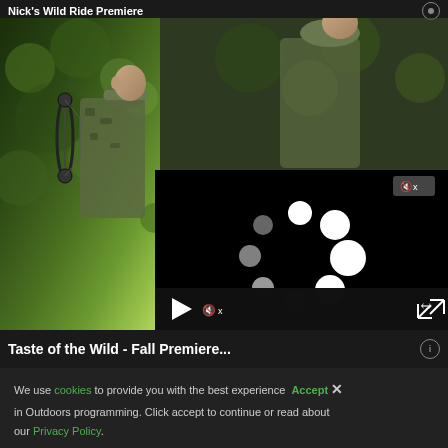Nick's Wild Ride Premiere
[Figure (screenshot): Outdoor hunting video screenshot showing a man in camouflage with a compound bow in a forest setting, overlaid with a video player loading spinner on a black background, with video controls at the bottom (play button, mute button, fullscreen button)]
Taste of the Wild - Fall Premiere...
We use cookies to provide you with the best experience Accept X in Outdoors programming. Click accept to continue or read about our Privacy Policy.